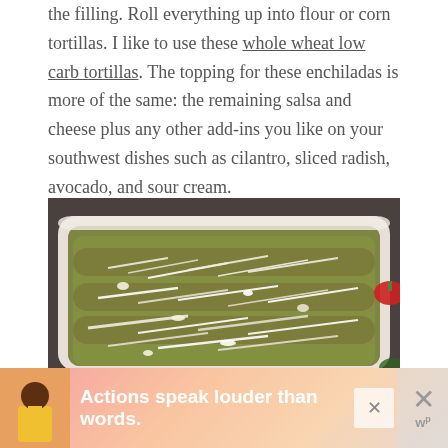the filling. Roll everything up into flour or corn tortillas. I like to use these whole wheat low carb tortillas. The topping for these enchiladas is more of the same: the remaining salsa and cheese plus any other add-ins you like on your southwest dishes such as cilantro, sliced radish, avocado, and sour cream.
[Figure (photo): A white baking dish filled with enchiladas topped with green salsa and shredded white cheese, on a dark wooden surface with a red pepper visible at the right edge.]
[Figure (infographic): Advertisement banner: 'Actions speak louder than words.' with an illustrated figure of a person in a yellow jacket, a close button (X), and a brand logo showing 'w' with superscript 'p'.]